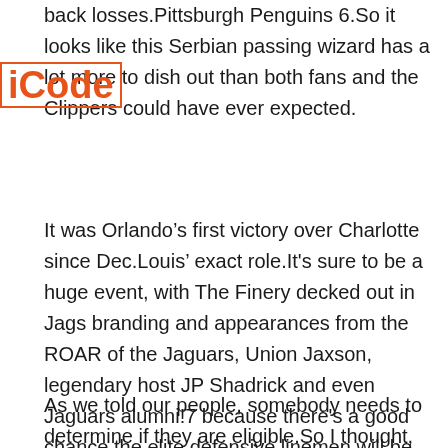back losses.Pittsburgh Penguins 6.So it looks like this Serbian passing wizard has a lot more to dish out than both fans and the Clippers could have ever expected.
It was Orlando’s first victory over Charlotte since Dec.Louis’ exact role.It's sure to be a huge event, with The Finery decked out in Jags branding and appearances from the ROAR of the Jaguars, Union Jaxson, legendary host JP Shadrick and even Jaguars alumni!7 because there's a good chance the elite defensive linemen will be gone by then, and because I don’t believe the Jaguars will take a quarterback there after signing quarterback Nick Foles as an unrestricted free agent.
As we told our people, somebody needs to determine if they are eligible.So I thought, I’m just going to try to do whatever I can to get this rebound.It did rain most of